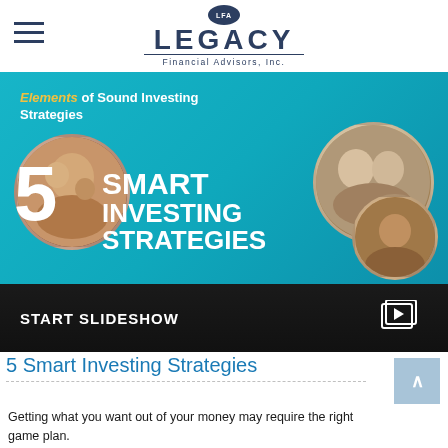LFA Legacy Financial Advisors, Inc.
[Figure (screenshot): Tablet displaying '5 Smart Investing Strategies' slideshow with teal background, circles with people photos, large white '5' numeral and 'SMART INVESTING STRATEGIES' text. Bottom bar shows 'START SLIDESHOW' with a play icon.]
5 Smart Investing Strategies
Getting what you want out of your money may require the right game plan.